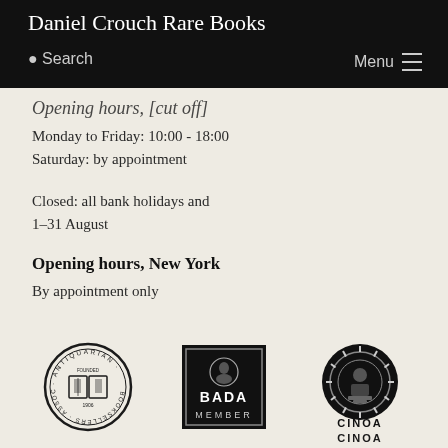Daniel Crouch Rare Books
Opening hours, [partially visible header above]
Monday to Friday: 10:00 - 18:00
Saturday: by appointment
Closed: all bank holidays and 1-31 August
Opening hours, New York
By appointment only
[Figure (logo): Antiquarian Booksellers Association circular logo with open book, founded 1906]
[Figure (logo): BADA Member badge in black square with portrait medallion]
[Figure (logo): CINOA circular logo with sun/wheel motif]